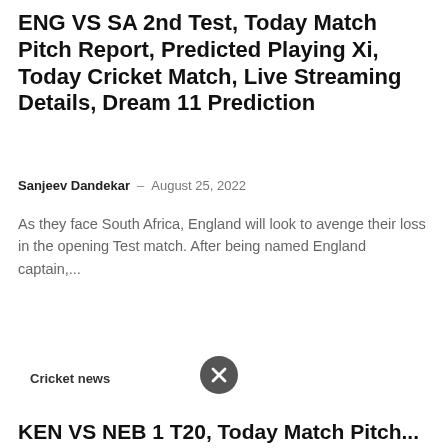ENG VS SA 2nd Test, Today Match Pitch Report, Predicted Playing Xi, Today Cricket Match, Live Streaming Details, Dream 11 Prediction
Sanjeev Dandekar  –  August 25, 2022
As they face South Africa, England will look to avenge their loss in the opening Test match. After being named England captain,...
Cricket news
KEN VS NEB 1 T20, Today Match Pitch...